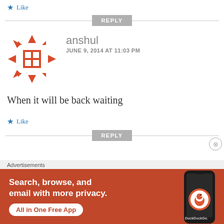★ Like
REPLY
anshul
JUNE 9, 2014 AT 11:03 PM
When it will be back waiting
★ Like
REPLY
Advertisements
[Figure (screenshot): DuckDuckGo advertisement banner with text: Search, browse, and email with more privacy. All in One Free App. Shows a phone with DuckDuckGo logo.]